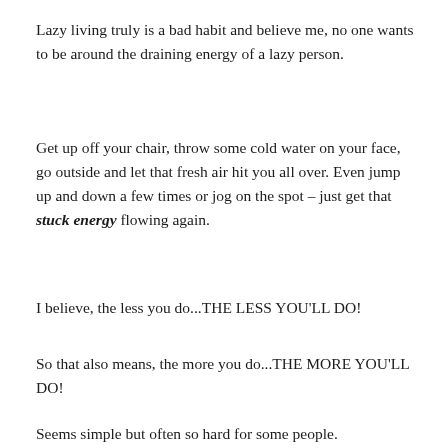Lazy living truly is a bad habit and believe me, no one wants to be around the draining energy of a lazy person.
Get up off your chair, throw some cold water on your face, go outside and let that fresh air hit you all over. Even jump up and down a few times or jog on the spot – just get that stuck energy flowing again.
I believe, the less you do...THE LESS YOU'LL DO!
So that also means, the more you do...THE MORE YOU'LL DO!
Seems simple but often so hard for some people.